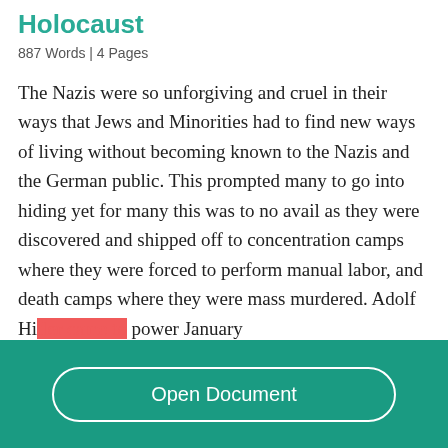Holocaust
887 Words  | 4 Pages
The Nazis were so unforgiving and cruel in their ways that Jews and Minorities had to find new ways of living without becoming known to the Nazis and the German public. This prompted many to go into hiding yet for many this was to no avail as they were discovered and shipped off to concentration camps where they were forced to perform manual labor, and death camps where they were mass murdered. Adolf Hi[tler rose to] power January
Read More
Open Document